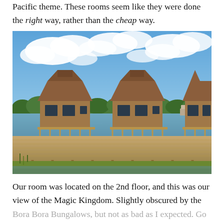Pacific theme. These rooms seem like they were done the right way, rather than the cheap way.
[Figure (photo): Bora Bora Bungalows at Disney's Polynesian Village Resort viewed from the water, showing overwater bungalows with thatched roofs on a wooden dock/pier, blue sky with white clouds, green trees and a lake in the background with a cruise ship visible.]
Our room was located on the 2nd floor, and this was our view of the Magic Kingdom. Slightly obscured by the Bora Bora Bungalows, but not as bad as I expected. Go for the 3rd floor for an even better view.